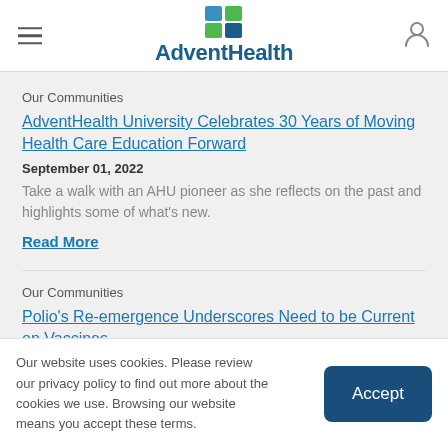AdventHealth
Our Communities
AdventHealth University Celebrates 30 Years of Moving Health Care Education Forward
September 01, 2022
Take a walk with an AHU pioneer as she reflects on the past and highlights some of what's new.
Read More
Our Communities
Polio's Re-emergence Underscores Need to be Current on Vaccines
Our website uses cookies. Please review our privacy policy to find out more about the cookies we use. Browsing our website means you accept these terms.